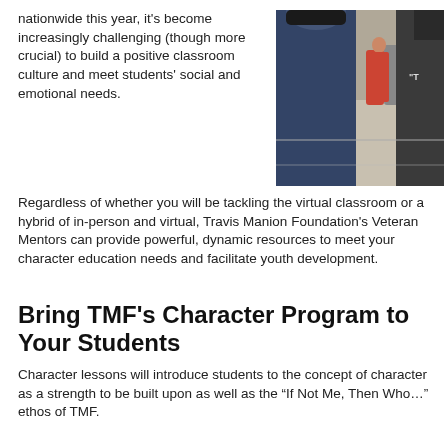nationwide this year, it's become increasingly challenging (though more crucial) to build a positive classroom culture and meet students' social and emotional needs.
[Figure (photo): Group of students/young people walking outdoors, viewed from behind, on a sidewalk. One person in a blue sweater, one in red, others visible.]
Regardless of whether you will be tackling the virtual classroom or a hybrid of in-person and virtual, Travis Manion Foundation's Veteran Mentors can provide powerful, dynamic resources to meet your character education needs and facilitate youth development.
Bring TMF's Character Program to Your Students
Character lessons will introduce students to the concept of character as a strength to be built upon as well as the “If Not Me, Then Who…” ethos of TMF.